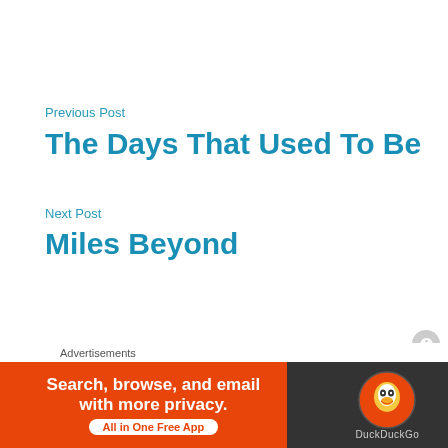Previous Post
The Days That Used To Be
Next Post
Miles Beyond
10 thoughts on “When do i…
Advertisements
[Figure (other): DuckDuckGo advertisement banner: 'Search, browse, and email with more privacy. All in One Free App' with DuckDuckGo logo on dark background]